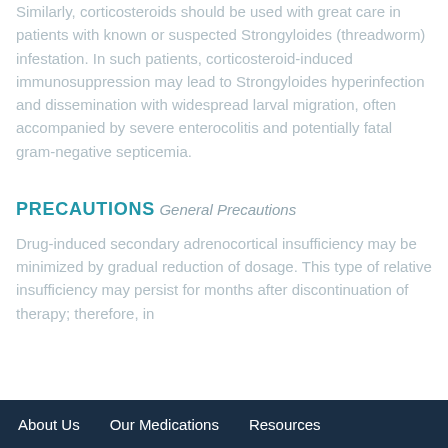Similarly, corticosteroids should be used with great care in patients with known or suspected Strongyloides (threadworm) infestation. In such patients, corticosteroid-induced immunosuppression may lead to Strongyloides hyperinfection and dissemination with widespread larval migration, often accompanied by severe enterocolitis and potentially fatal gram-negative septicemia.
PRECAUTIONS
General Precautions
Drug-induced secondary adrenocortical insufficiency may be minimized by gradual reduction of dosage. This type of relative insufficiency may persist for months after discontinuation of therapy; therefore, in
About Us   Our Medications   Resources